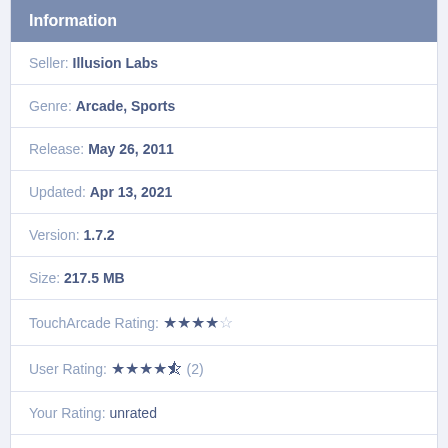Information
Seller: Illusion Labs
Genre: Arcade, Sports
Release: May 26, 2011
Updated: Apr 13, 2021
Version: 1.7.2
Size: 217.5 MB
TouchArcade Rating: ★★★★☆
User Rating: ★★★★½ (2)
Your Rating: unrated